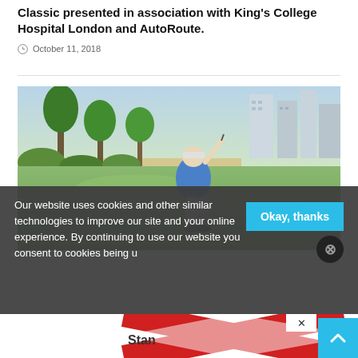Classic presented in association with King's College Hospital London and AutoRoute.
October 11, 2018
[Figure (photo): Golfer in blue shirt mid-swing on a golf course with palm trees and urban buildings in the background]
Our website uses cookies and other similar technologies to improve our site and your online experience. By continuing to use our website you consent to cookies being u...
[Figure (other): Advertisement banner with red and white X pattern design, with 'Stan' partial text visible and a close (x) button]